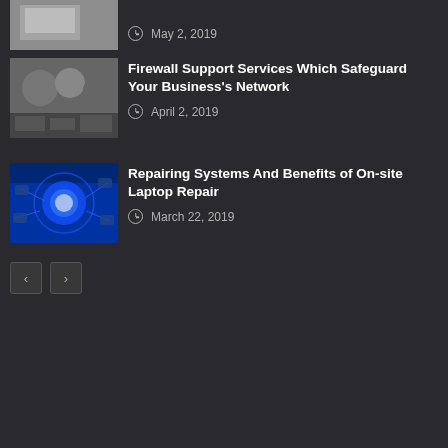May 2, 2019
[Figure (photo): People working at computers in an office]
Firewall Support Services Which Safeguard Your Business's Network
April 2, 2019
[Figure (photo): Group of people in dark shirts standing together]
Repairing Systems And Benefits of On-site Laptop Repair
March 22, 2019
[Figure (photo): Blue cybersecurity themed image with lock and circuit board]
Copyright @ 2019 yologadget.com | All Right Reserved.
Contact Us . Tech . Software . Hardware . Systems . Gadgets